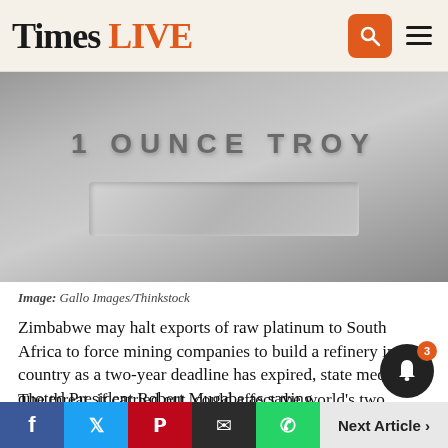Times LIVE
[Figure (photo): Close-up photo of a platinum bar engraved with '1 OUNCE TROY' with a rectangular recessed area below the text]
Image: Gallo Images/Thinkstock
Zimbabwe may halt exports of raw platinum to South Africa to force mining companies to build a refinery in the country as a two-year deadline has expired, state media quoted President Robert Mugabe as saying.
The threat, if carried out, could affect the world's two largest platinum producers, Anglo American Platinum and Impala Platinum Holdings, both of which have